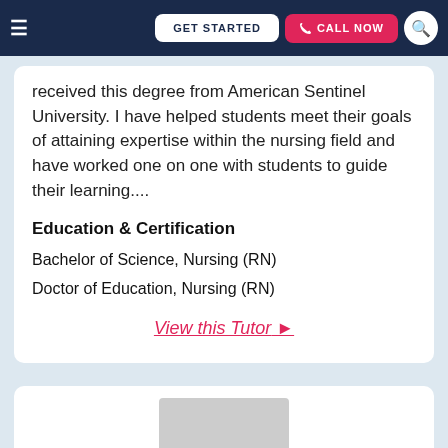GET STARTED | CALL NOW
received this degree from American Sentinel University. I have helped students meet their goals of attaining expertise within the nursing field and have worked one on one with students to guide their learning....
Education & Certification
Bachelor of Science, Nursing (RN)
Doctor of Education, Nursing (RN)
View this Tutor ►
[Figure (photo): Partial view of a tutor profile photo at the bottom of the page, cropped, showing a gray/silver image stub.]